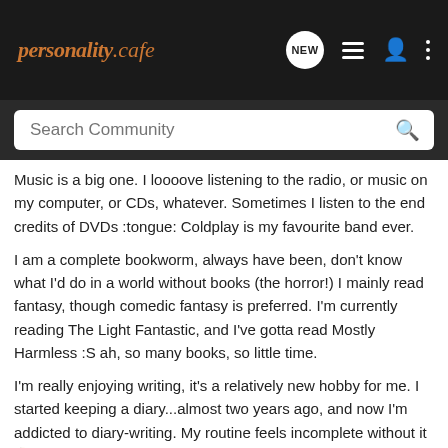personality cafe
Music is a big one. I loooove listening to the radio, or music on my computer, or CDs, whatever. Sometimes I listen to the end credits of DVDs :tongue: Coldplay is my favourite band ever.
I am a complete bookworm, always have been, don't know what I'd do in a world without books (the horror!) I mainly read fantasy, though comedic fantasy is preferred. I'm currently reading The Light Fantastic, and I've gotta read Mostly Harmless :S ah, so many books, so little time.
I'm really enjoying writing, it's a relatively new hobby for me. I started keeping a diary...almost two years ago, and now I'm addicted to diary-writing. My routine feels incomplete without it 🤔